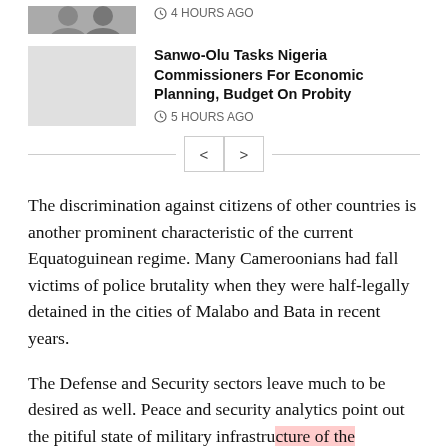[Figure (photo): Partial thumbnail image of a person at the top of the page]
4 HOURS AGO
[Figure (photo): Gray placeholder thumbnail image for news article]
Sanwo-Olu Tasks Nigeria Commissioners For Economic Planning, Budget On Probity
5 HOURS AGO
< >
The discrimination against citizens of other countries is another prominent characteristic of the current Equatoguinean regime. Many Cameroonians had fall victims of police brutality when they were half-legally detained in the cities of Malabo and Bata in recent years.
The Defense and Security sectors leave much to be desired as well. Peace and security analytics point out the pitiful state of military infrastructure of the